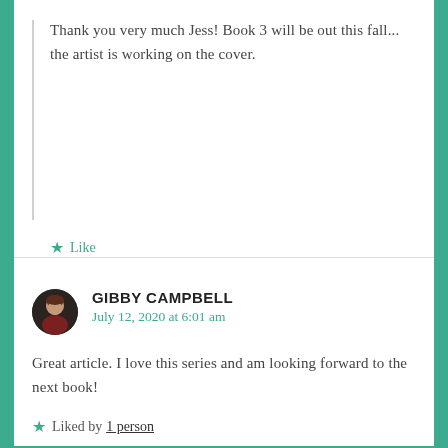Thank you very much Jess! Book 3 will be out this fall... the artist is working on the cover.
Like
GIBBY CAMPBELL
July 12, 2020 at 6:01 am
Great article. I love this series and am looking forward to the next book!
Liked by 1 person